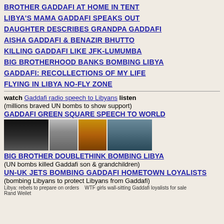BROTHER GADDAFI AT HOME IN TENT
LIBYA'S MAMA GADDAFI SPEAKS OUT
DAUGHTER DESCRIBES GRANDPA GADDAFI
AISHA GADDAFI & BENAZIR BHUTTO
KILLING GADDAFI LIKE JFK-LUMUMBA
BIG BROTHERHOOD BANKS BOMBING LIBYA
GADDAFI: RECOLLECTIONS OF MY LIFE
FLYING IN LIBYA NO-FLY ZONE
watch Gaddafi radio speech to Libyans listen
(millions braved UN bombs to show support)
GADDAFI GREEN SQUARE SPEECH TO WORLD
[Figure (photo): Four images showing Gaddafi-related scenes: crowd at night rally, explosion/smoke, portrait of Gaddafi, aerial/landscape view]
BIG BROTHER DOUBLETHINK BOMBING LIBYA
(UN bombs killed Gaddafi son & grandchildren)
UN-UK jets bombing Gaddafi hometown loyalists
(bombing Libyans to protect Libyans from Gaddafi)
Libya: rebels to prepare on orders | Rand Weilet | WTF girls wall-sitting Gaddafi loyalists for sale